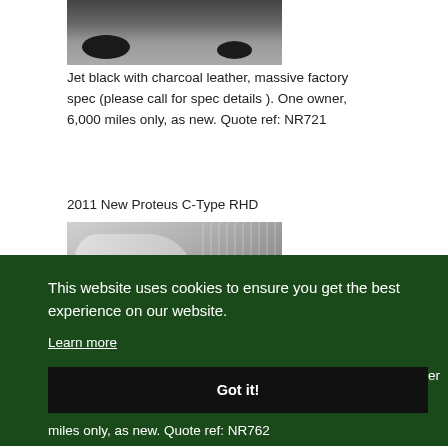[Figure (photo): Bottom portion of a dark/black car showing wheel on pavement]
Jet black with charcoal leather, massive factory spec (please call for spec details ). One owner, 6,000 miles only, as new. Quote ref: NR721
2011 New Proteus C-Type RHD
[Figure (photo): Silver sports car body panel with a red badge/sticker visible]
This website uses cookies to ensure you get the best experience on our website.
Learn more
Got it!
miles only, as new. Quote ref: NR762